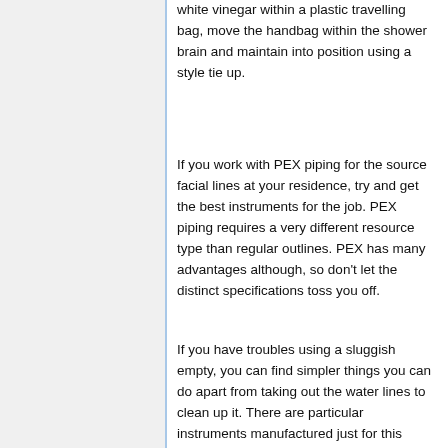white vinegar within a plastic travelling bag, move the handbag within the shower brain and maintain into position using a style tie up.
If you work with PEX piping for the source facial lines at your residence, try and get the best instruments for the job. PEX piping requires a very different resource type than regular outlines. PEX has many advantages although, so don't let the distinct specifications toss you off.
If you have troubles using a sluggish empty, you can find simpler things you can do apart from taking out the water lines to clean up it. There are particular instruments manufactured just for this function that you simply put in to the